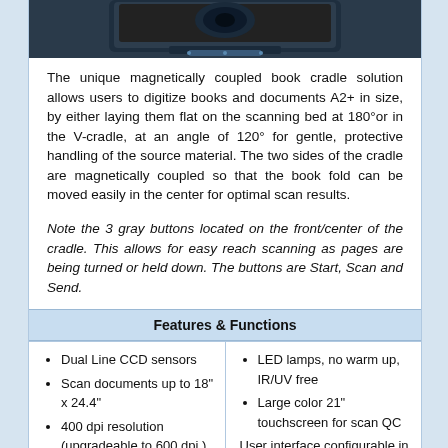[Figure (photo): Top portion of a book scanner device shown from above, dark colored hardware]
The unique magnetically coupled book cradle solution allows users to digitize books and documents A2+ in size, by either laying them flat on the scanning bed at 180°or in the V-cradle, at an angle of 120° for gentle, protective handling of the source material. The two sides of the cradle are magnetically coupled so that the book fold can be moved easily in the center for optimal scan results.
Note the 3 gray buttons located on the front/center of the cradle. This allows for easy reach scanning as pages are being turned or held down. The buttons are Start, Scan and Send.
Features & Functions
Dual Line CCD sensors
Scan documents up to 18" x 24.4"
400 dpi resolution (upgradeable to 600 dpi )
0.8 Sec. for A3+
LED lamps, no warm up, IR/UV free
Large color 21" touchscreen for scan QC
User interface configurable in